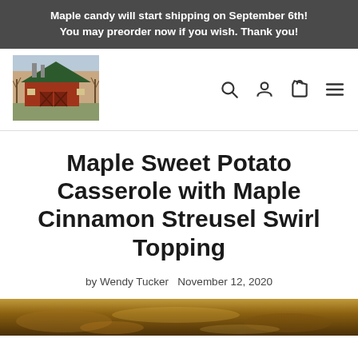Maple candy will start shipping on September 6th! You may preorder now if you wish. Thank you!
[Figure (photo): Logo image of a red barn with green roof surrounded by bare trees]
Maple Sweet Potato Casserole with Maple Cinnamon Streusel Swirl Topping
by Wendy Tucker  November 12, 2020
[Figure (photo): Partial bottom strip of a food photo showing the casserole dish]